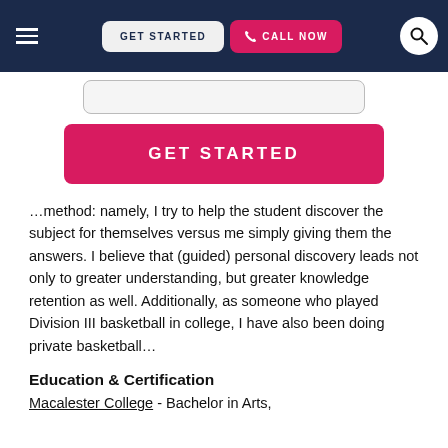GET STARTED | CALL NOW
[Figure (screenshot): Input field (search/form bar)]
GET STARTED
…method: namely, I try to help the student discover the subject for themselves versus me simply giving them the answers. I believe that (guided) personal discovery leads not only to greater understanding, but greater knowledge retention as well. Additionally, as someone who played Division III basketball in college, I have also been doing private basketball…
Education & Certification
Macalester College - Bachelor in Arts,